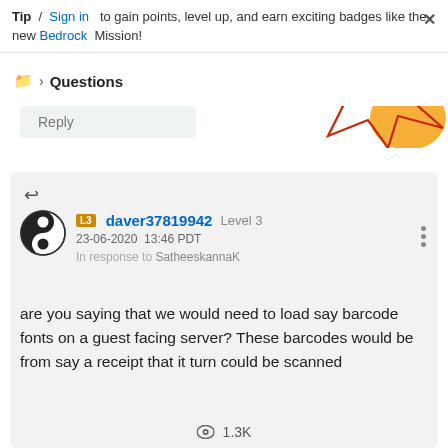Tip / Sign in to gain points, level up, and earn exciting badges like the new Bedrock Mission!
Questions
Reply
daver37819942 Level 3
23-06-2020 13:46 PDT
In response to SatheeskannaK
are you saying that we would need to load say barcode fonts on a guest facing server? These barcodes would be from say a receipt that it turn could be scanned
1.3K